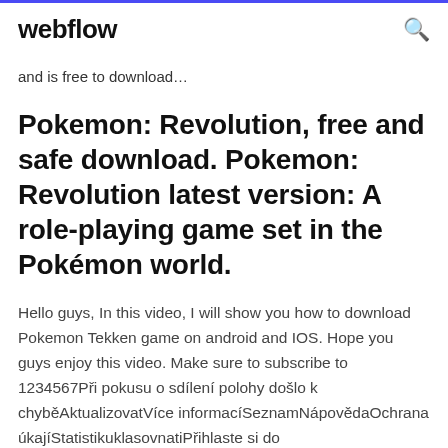webflow
and is free to download…
Pokemon: Revolution, free and safe download. Pokemon: Revolution latest version: A role-playing game set in the Pokémon world.
Hello guys, In this video, I will show you how to download Pokemon Tekken game on android and IOS. Hope you guys enjoy this video. Make sure to subscribe to 1234567Při pokusu o sdílení polohy došlo k chyběAktualizovatVíce informacíSeznamNápovědaOchrana úkájíStatistikuklasovnatiPřihlaste si do